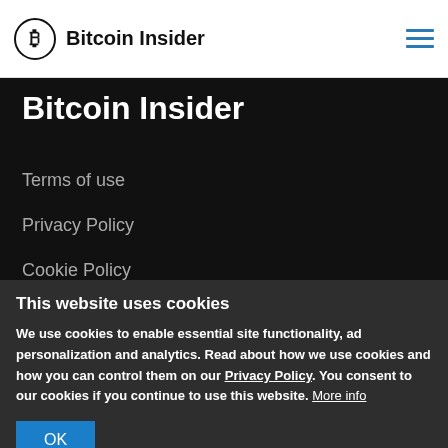Bitcoin Insider
Bitcoin Insider
Terms of use
Privacy Policy
Cookie Policy
Search
This website uses cookies
We use cookies to enable essential site functionality, ad personalization and analytics. Read about how we use cookies and how you can control them on our Privacy Policy. You consent to our cookies if you continue to use this website. More info
OK